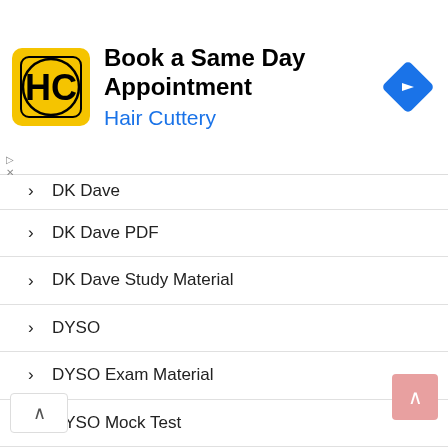[Figure (other): Hair Cuttery advertisement banner: Book a Same Day Appointment with logo and navigation arrow icon]
DK Dave (partial, cut off at top)
DK Dave PDF
DK Dave Study Material
DYSO
DYSO Exam Material
DYSO Mock Test
DYSO Model Paper.
Economic Survey 2019-20
English Current Affairs PDF
English Grammar
Environment PDF
EHW (partial, cut off at bottom)